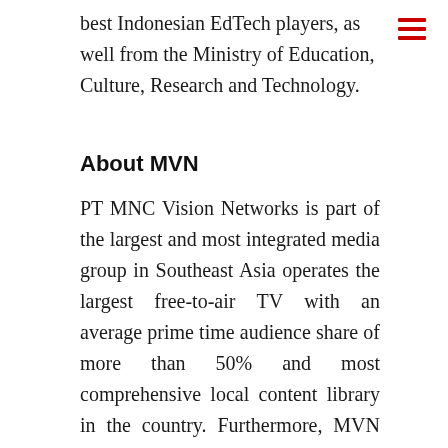best Indonesian EdTech players, as well from the Ministry of Education, Culture, Research and Technology.
About MVN
PT MNC Vision Networks is part of the largest and most integrated media group in Southeast Asia operates the largest free-to-air TV with an average prime time audience share of more than 50% and most comprehensive local content library in the country. Furthermore, MVN operates the fastest growing OTT in the country through